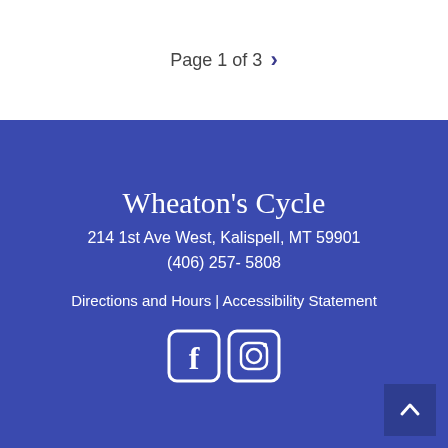Page 1 of 3
Wheaton's Cycle
214 1st Ave West, Kalispell, MT 59901
(406) 257- 5808
Directions and Hours | Accessibility Statement
[Figure (illustration): Facebook and Instagram social media icons in white on blue background]
[Figure (illustration): Back to top button with upward arrow chevron, dark blue square in bottom right corner]